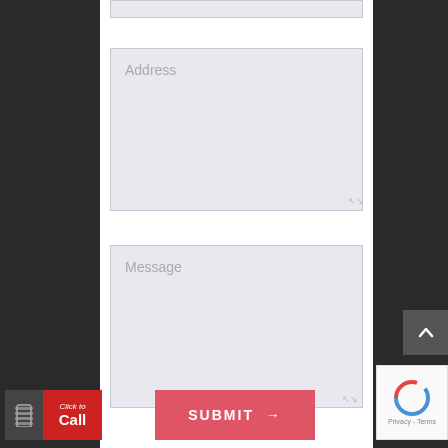[Figure (screenshot): Web contact form screenshot showing an Address textarea field, a Message textarea field, a red SUBMIT button with arrow, a Click to Call widget, a reCAPTCHA widget, and an up-arrow scroll button on a dark background with white center column.]